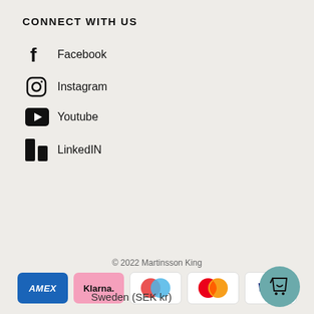CONNECT WITH US
Facebook
Instagram
Youtube
LinkedIN
© 2022 Martinsson King
[Figure (logo): Payment method logos: AMEX, Klarna, Maestro, Mastercard, Visa]
Sweden (SEK kr)
[Figure (illustration): Teal circular shopping bag button with heart icon]